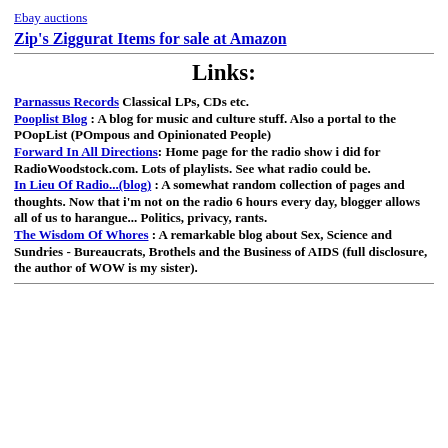Ebay auctions
Zip's Ziggurat Items for sale at Amazon
Links:
Parnassus Records Classical LPs, CDs etc.
Pooplist Blog : A blog for music and culture stuff. Also a portal to the POopList (POmpous and Opinionated People)
Forward In All Directions: Home page for the radio show i did for RadioWoodstock.com. Lots of playlists. See what radio could be.
In Lieu Of Radio...(blog) : A somewhat random collection of pages and thoughts. Now that i'm not on the radio 6 hours every day, blogger allows all of us to harangue... Politics, privacy, rants.
The Wisdom Of Whores : A remarkable blog about Sex, Science and Sundries - Bureaucrats, Brothels and the Business of AIDS (full disclosure, the author of WOW is my sister).